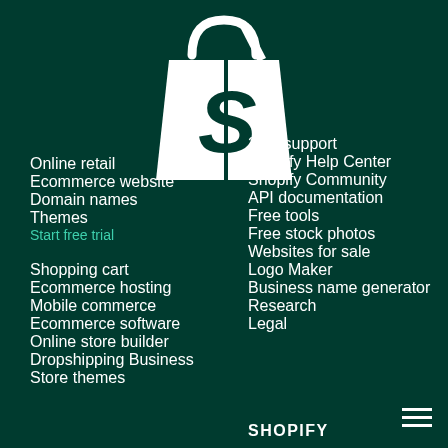[Figure (logo): Shopify shopping bag logo in white on dark green background]
Online retail
Ecommerce website
Domain names
Themes
Start free trial
Shopping cart
Ecommerce hosting
Mobile commerce
Ecommerce software
Online store builder
Dropshipping Business
Store themes
24/7 support
Shopify Help Center
Shopify Community
API documentation
Free tools
Free stock photos
Websites for sale
Logo Maker
Business name generator
Research
Legal
SHOPIFY